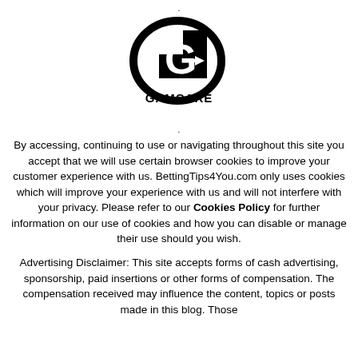[Figure (logo): GamCare logo: a stylized letter G in black and white with a checkered background, and the text GAMCARE below it]
By accessing, continuing to use or navigating throughout this site you accept that we will use certain browser cookies to improve your customer experience with us. BettingTips4You.com only uses cookies which will improve your experience with us and will not interfere with your privacy. Please refer to our Cookies Policy for further information on our use of cookies and how you can disable or manage their use should you wish.
Advertising Disclaimer: This site accepts forms of cash advertising, sponsorship, paid insertions or other forms of compensation. The compensation received may influence the content, topics or posts made in this blog. Those